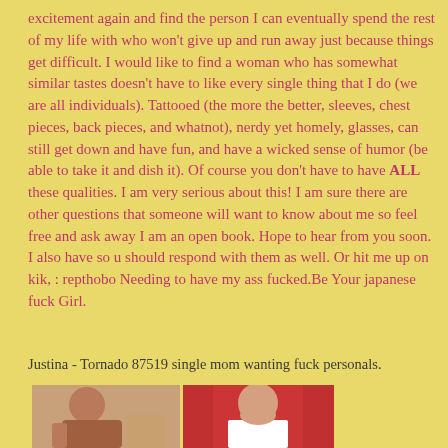excitement again and find the person I can eventually spend the rest of my life with who won't give up and run away just because things get difficult. I would like to find a woman who has somewhat similar tastes doesn't have to like every single thing that I do (we are all individuals). Tattooed (the more the better, sleeves, chest pieces, back pieces, and whatnot), nerdy yet homely, glasses, can still get down and have fun, and have a wicked sense of humor (be able to take it and dish it). Of course you don't have to have ALL these qualities. I am very serious about this! I am sure there are other questions that someone will want to know about me so feel free and ask away I am an open book. Hope to hear from you soon. I also have so u should respond with them as well. Or hit me up on kik, : repthobo Needing to have my ass fucked.Be Your japanese fuck Girl.
Justina - Tornado 87519 single mom wanting fuck personals.
[Figure (photo): Two photos side by side showing women, left photo on light background, right photo on red background]